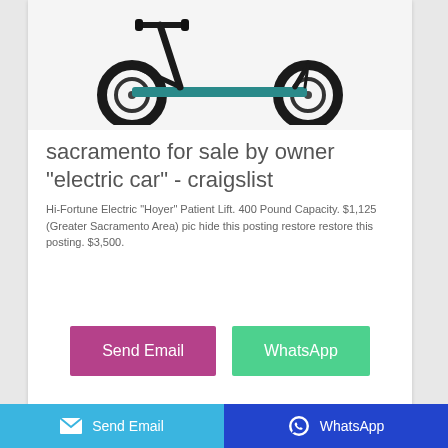[Figure (photo): Photo of a black and teal electric kick scooter with large wheels on a white background]
sacramento for sale by owner "electric car" - craigslist
Hi-Fortune Electric "Hoyer" Patient Lift. 400 Pound Capacity. $1,125 (Greater Sacramento Area) pic hide this posting restore restore this posting. $3,500.
Send Email
WhatsApp
Send Email   WhatsApp